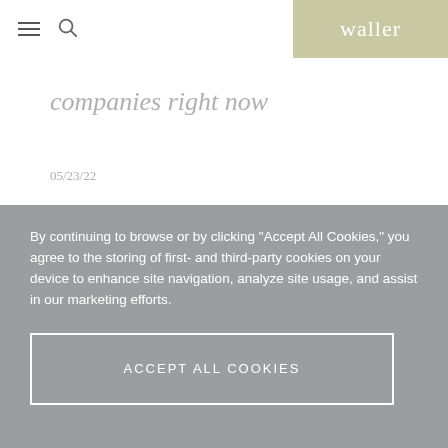waller
companies right now
05/23/22
By continuing to browse or by clicking "Accept All Cookies," you agree to the storing of first- and third-party cookies on your device to enhance site navigation, analyze site usage, and assist in our marketing efforts.
ACCEPT ALL COOKIES